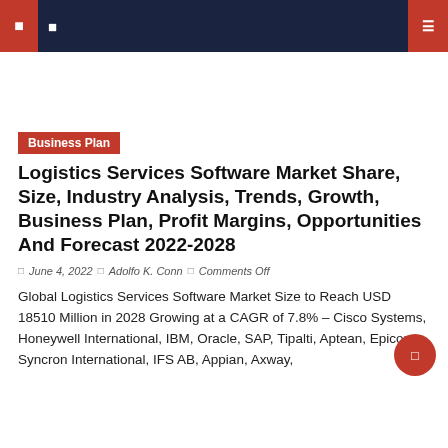Navigation bar with logo and search icon
Business Plan
Logistics Services Software Market Share, Size, Industry Analysis, Trends, Growth, Business Plan, Profit Margins, Opportunities And Forecast 2022-2028
June 4, 2022 | Adolfo K. Conn | Comments Off
Global Logistics Services Software Market Size to Reach USD 18510 Million in 2028 Growing at a CAGR of 7.8% – Cisco Systems, Honeywell International, IBM, Oracle, SAP, Tipalti, Aptean, Epicor, Syncron International, IFS AB, Appian, Axway,